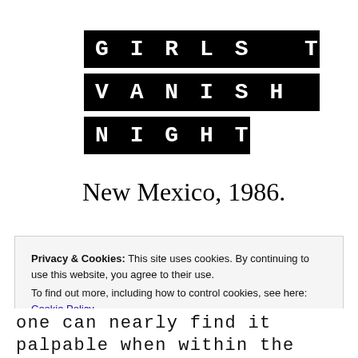GIRLS THAT VANISH AT NIGHT
New Mexico, 1986.
Privacy & Cookies: This site uses cookies. By continuing to use this website, you agree to their use.
To find out more, including how to control cookies, see here: Cookie Policy
Close and accept
one can nearly find it palpable when within the